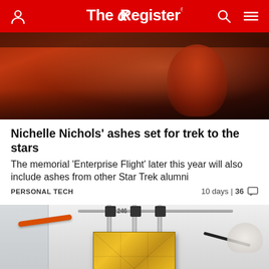The Register
[Figure (photo): A person in a red outfit seated at what appears to be a control panel or console, partially visible]
Nichelle Nichols' ashes set for trek to the stars
The memorial 'Enterprise Flight' later this year will also include ashes from other Star Trek alumni
PERSONAL TECH  10 days | 36
[Figure (photo): A gold-foil wrapped piece of equipment or satellite hardware being handled in a lab setting, with orange cables and metal support struts visible]